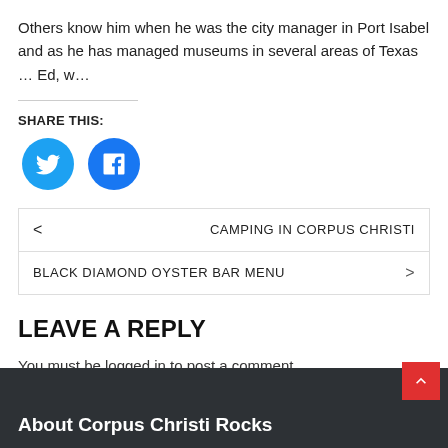Others know him when he was the city manager in Port Isabel and as he has managed museums in several areas of Texas … Ed, w…
SHARE THIS:
[Figure (infographic): Two circular social sharing buttons: Twitter (blue bird icon) and Facebook (blue 'f' icon)]
< CAMPING IN CORPUS CHRISTI
BLACK DIAMOND OYSTER BAR MENU >
LEAVE A REPLY
You must be logged in to post a comment.
About Corpus Christi Rocks